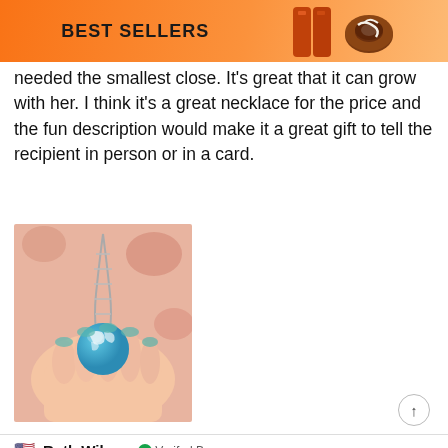BEST SELLERS
needed the smallest close. It's great that it can grow with her. I think it's a great necklace for the price and the fun description would make it a great gift to tell the recipient in person or in a card.
[Figure (photo): Hand holding a blue globe/earth pendant necklace on a silver chain, with a pink floral background]
Ruth Wilson  Verified Buyer
18 Apr 2022
I wasnt sure what to expect, however, this Blue Sky Cloud Necklace is a pretty piece of casual costume jewelry. It may not go with a cocktail dress but it looks cute with jeans. The